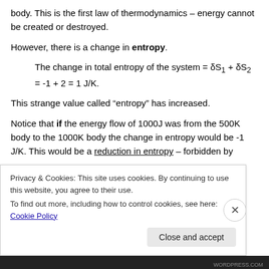body. This is the first law of thermodynamics – energy cannot be created or destroyed.
However, there is a change in entropy.
The change in total entropy of the system = δS₁ + δS₂ = -1 + 2 = 1 J/K.
This strange value called “entropy” has increased.
Notice that if the energy flow of 1000J was from the 500K body to the 1000K body the change in entropy would be -1 J/K. This would be a reduction in entropy – forbidden by
Privacy & Cookies: This site uses cookies. By continuing to use this website, you agree to their use.
To find out more, including how to control cookies, see here: Cookie Policy
Close and accept